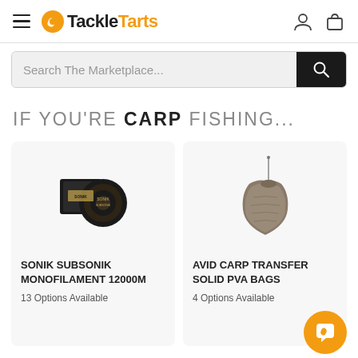TackleTarts
Search The Marketplace...
IF YOU'RE CARP FISHING...
[Figure (photo): Sonik Subsonik monofilament fishing line spool in black packaging]
SONIK SUBSONIK MONOFILAMENT 12000M
13 Options Available
[Figure (photo): Avid Carp Transfer Solid PVA bag with needle, brown/gray color]
AVID CARP TRANSFER SOLID PVA BAGS
4 Options Available